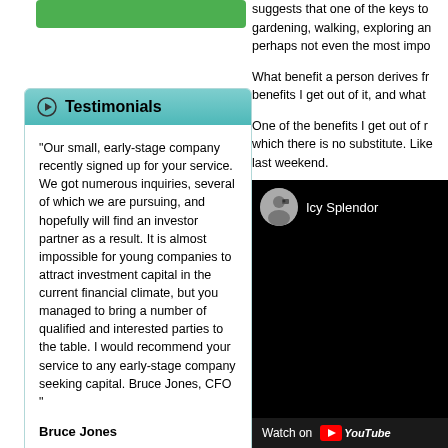[Figure (other): Green button area at top of left column]
Testimonials
"Our small, early-stage company recently signed up for your service. We got numerous inquiries, several of which we are pursuing, and hopefully will find an investor partner as a result. It is almost impossible for young companies to attract investment capital in the current financial climate, but you managed to bring a number of qualified and interested parties to the table. I would recommend your service to any early-stage company seeking capital. Bruce Jones, CFO "
Bruce Jones
suggests that one of the keys to gardening, walking, exploring and perhaps not even the most impo...
What benefit a person derives fr... benefits I get out of it, and what...
One of the benefits I get out of r... which there is no substitute. Like... last weekend.
[Figure (screenshot): YouTube video embed showing 'Icy Splendor' channel with avatar image, black video area, and Watch on YouTube footer]